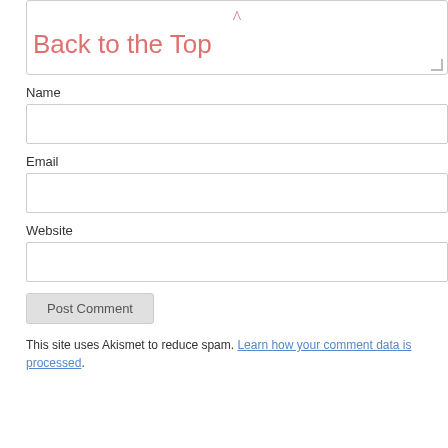^ Back to the Top
Name
Email
Website
Post Comment
This site uses Akismet to reduce spam. Learn how your comment data is processed.